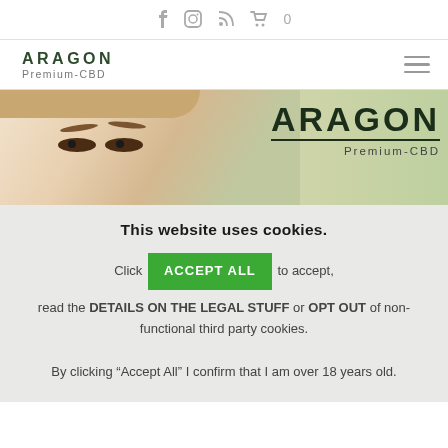f  [instagram]  [rss]  [cart] 0
ARAGON Premium-CBD
[Figure (photo): Hero banner with close-up of woman's eyes/face on left, Aragon Premium-CBD logo text on right, on a light beige/green gradient background]
This website uses cookies.
Click ACCEPT ALL to accept, read the DETAILS ON THE LEGAL STUFF or OPT OUT of non-functional third party cookies.
By clicking “Accept All” I confirm that I am over 18 years old.